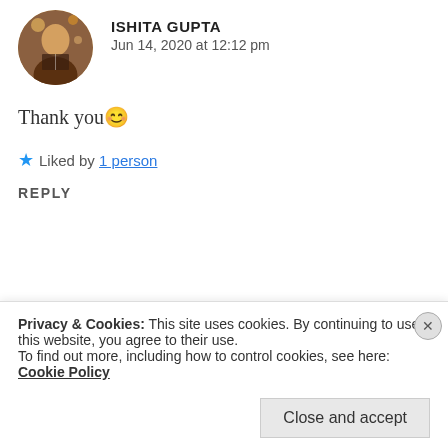[Figure (photo): Round avatar photo of Ishita Gupta, showing a person reading a book with bokeh background]
ISHITA GUPTA
Jun 14, 2020 at 12:12 pm
Thank you 😊
★ Liked by 1 person
REPLY
[Figure (photo): Round avatar photo of Shweta Suresh, a young woman smiling outdoors]
SHWETA SURESH
Jun 14, 2020 at 3:30 pm
Privacy & Cookies: This site uses cookies. By continuing to use this website, you agree to their use.
To find out more, including how to control cookies, see here: Cookie Policy
Close and accept